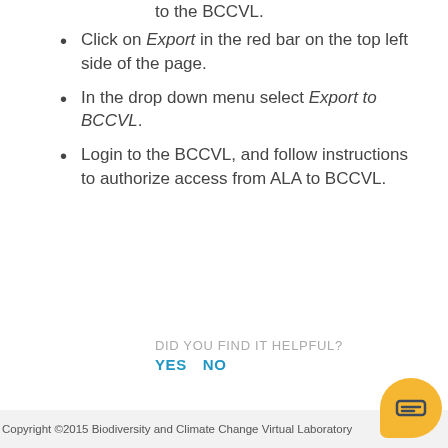to the BCCVL.
Click on Export in the red bar on the top left side of the page.
In the drop down menu select Export to BCCVL.
Login to the BCCVL, and follow instructions to authorize access from ALA to BCCVL.
DID YOU FIND IT HELPFUL?
YES   NO
Copyright ©2015 Biodiversity and Climate Change Virtual Laboratory